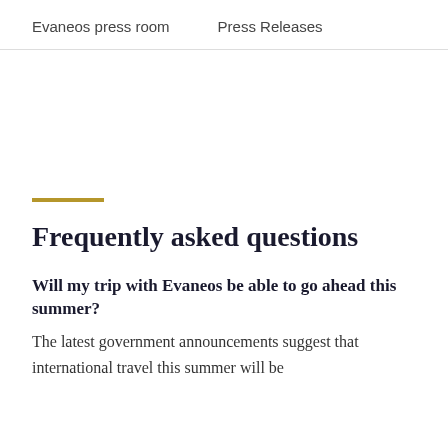Evaneos press room   Press Releases
Frequently asked questions
Will my trip with Evaneos be able to go ahead this summer?
The latest government announcements suggest that international travel this summer will be